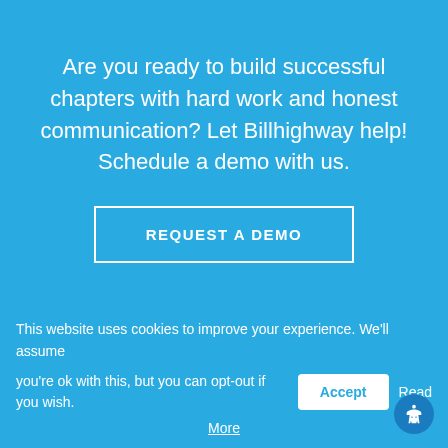Are you ready to build successful chapters with hard work and honest communication? Let Billhighway help! Schedule a demo with us.
REQUEST A DEMO
Chapter & Member Engagement
Chapter Leadership & Management
This website uses cookies to improve your experience. We'll assume you're ok with this, but you can opt-out if you wish.
Accept
Read More